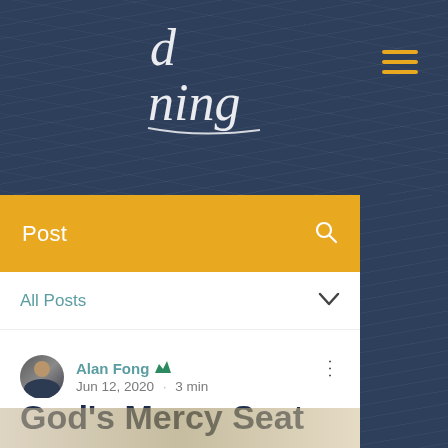[Figure (screenshot): Website header with dark navy topographic background and cursive/script logo text reading 'd ning' (partial), with hamburger menu icon in gold/yellow]
Post
All Posts
Alan Fong  Jun 12, 2020  ·  3 min
God's Mercy Seat
[Figure (photo): Blurred photo at bottom of page, warm tones]